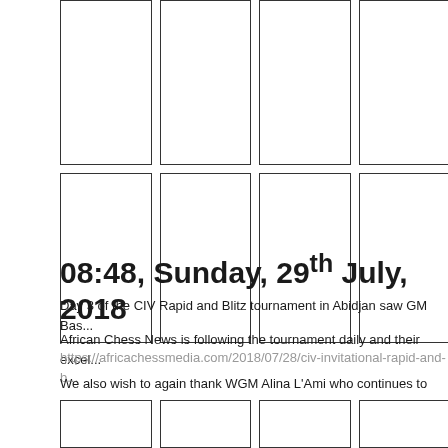[Figure (photo): Grid of 8 image placeholder boxes arranged in 2 rows of 4 columns at the top of the page]
08:48, Sunday, 29th July, 2018
Day 3 of the CIV Rapid and Blitz tournament in Abidjan saw GM Bas...
African Chess News is following the tournament daily and their excel...
https://africachessmedia.com/2018/07/28/civ-invitational-rapid-and-b...
We also wish to again thank WGM Alina L'Ami who continues to prov...
[Figure (photo): Grid of image placeholder boxes in a row at the bottom of the page]